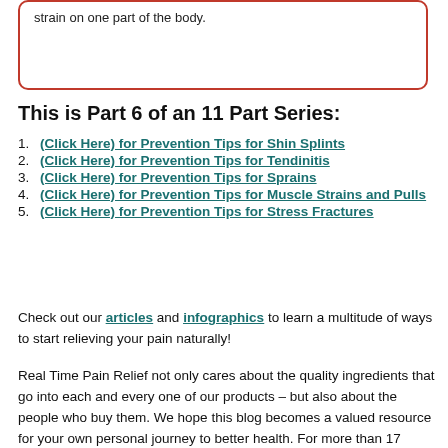strain on one part of the body.
This is Part 6 of an 11 Part Series:
(Click Here) for Prevention Tips for Shin Splints
(Click Here) for Prevention Tips for Tendinitis
(Click Here) for Prevention Tips for Sprains
(Click Here) for Prevention Tips for Muscle Strains and Pulls
(Click Here) for Prevention Tips for Stress Fractures
Check out our articles and infographics to learn a multitude of ways to start relieving your pain naturally!
Real Time Pain Relief not only cares about the quality ingredients that go into each and every one of our products – but also about the people who buy them. We hope this blog becomes a valued resource for your own personal journey to better health. For more than 17 years, Real Time Pain Relief has provided family safe pain